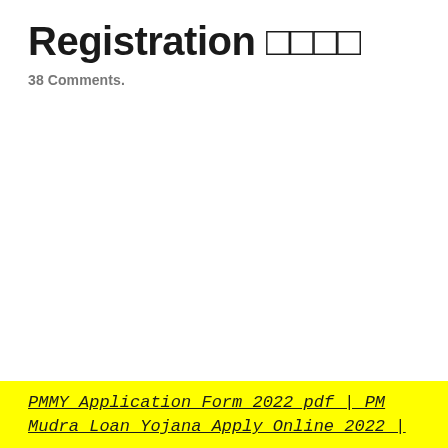Registration □□□□
38 Comments.
PMMY Application Form 2022 pdf | PM Mudra Loan Yojana Apply Online 2022 |